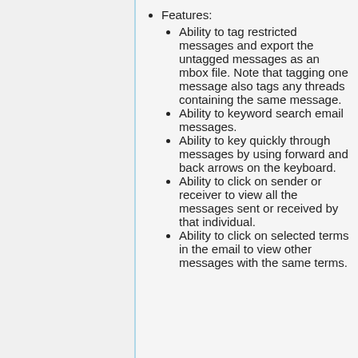Features:
Ability to tag restricted messages and export the untagged messages as an mbox file. Note that tagging one message also tags any threads containing the same message.
Ability to keyword search email messages.
Ability to key quickly through messages by using forward and back arrows on the keyboard.
Ability to click on sender or receiver to view all the messages sent or received by that individual.
Ability to click on selected terms in the email to view other messages with the same terms.